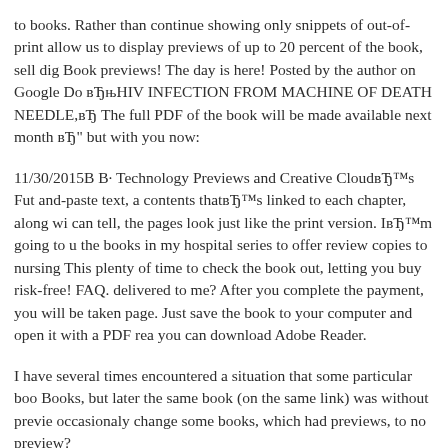to books. Rather than continue showing only snippets of out-of-print allow us to display previews of up to 20 percent of the book, sell dig Book previews! The day is here! Posted by the author on Google Do вЂњHIV INFECTION FROM MACHINE OF DEATH NEEDLE,вЂ The full PDF of the book will be made available next month вЂ" but with you now:
11/30/2015В В· Technology Previews and Creative CloudвЂ™s Fut and-paste text, a contents thatвЂ™s linked to each chapter, along wi can tell, the pages look just like the print version. IвЂ™m going to u the books in my hospital series to offer review copies to nursing This plenty of time to check the book out, letting you buy risk-free! FAQ. delivered to me? After you complete the payment, you will be taken page. Just save the book to your computer and open it with a PDF rea you can download Adobe Reader.
I have several times encountered a situation that some particular boo Books, but later the same book (on the same link) was without previe occasionaly change some books, which had previews, to no preview?